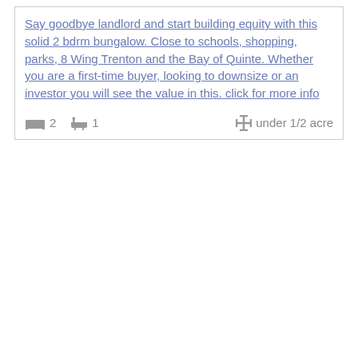Say goodbye landlord and start building equity with this solid 2 bdrm bungalow. Close to schools, shopping, parks, 8 Wing Trenton and the Bay of Quinte. Whether you are a first-time buyer, looking to downsize or an investor you will see the value in this. click for more info
2 bedrooms, 1 bathroom, under 1/2 acre